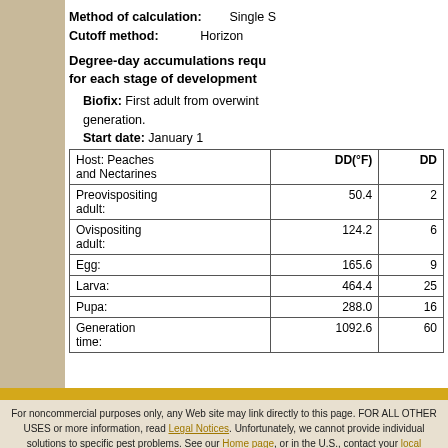Method of calculation: Single S
Cutoff method: Horizon
Degree-day accumulations required for each stage of development
Biofix: First adult from overwintering generation.
Start date: January 1
| Host: Peaches and Nectarines | DD(°F) | DD(°C) |
| --- | --- | --- |
| Preovispositing adult: | 50.4 | 2 |
| Ovispositing adult: | 124.2 | 6 |
| Egg: | 165.6 | 9 |
| Larva: | 464.4 | 25 |
| Pupa: | 288.0 | 16 |
| Generation time: | 1092.6 | 60 |
For noncommercial purposes only, any Web site may link directly to this page. FOR ALL OTHER USES or more information, read Legal Notices. Unfortunately, we cannot provide individual solutions to specific pest problems. See our Home page, or in the U.S., contact your local Cooperative Extension office for assistance.
Acknowledgements | Staff-only pages | Subscribe (RSS) | Contact UC IPM